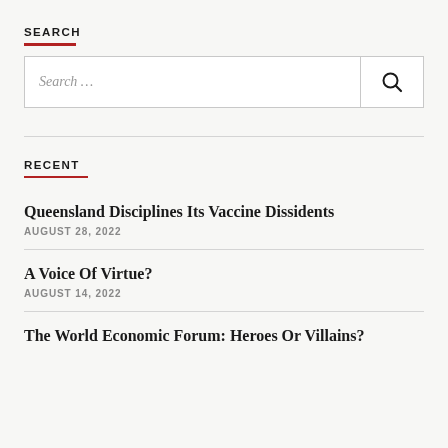SEARCH
[Figure (other): Search input box with placeholder text 'Search ...' and a magnifying glass search button on the right]
RECENT
Queensland Disciplines Its Vaccine Dissidents
AUGUST 28, 2022
A Voice Of Virtue?
AUGUST 14, 2022
The World Economic Forum: Heroes Or Villains?